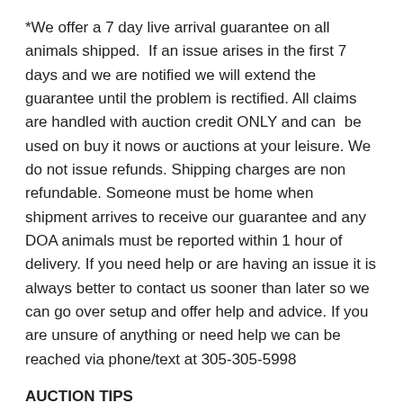*We offer a 7 day live arrival guarantee on all animals shipped. If an issue arises in the first 7 days and we are notified we will extend the guarantee until the problem is rectified. All claims are handled with auction credit ONLY and can be used on buy it nows or auctions at your leisure. We do not issue refunds. Shipping charges are non refundable. Someone must be home when shipment arrives to receive our guarantee and any DOA animals must be reported within 1 hour of delivery. If you need help or are having an issue it is always better to contact us sooner than later so we can go over setup and offer help and advice. If you are unsure of anything or need help we can be reached via phone/text at 305-305-5998
AUCTION TIPS
*Our auctions are set up on a proxy/maximum bid system. If you bid and the amount is less than the maximum bid placed